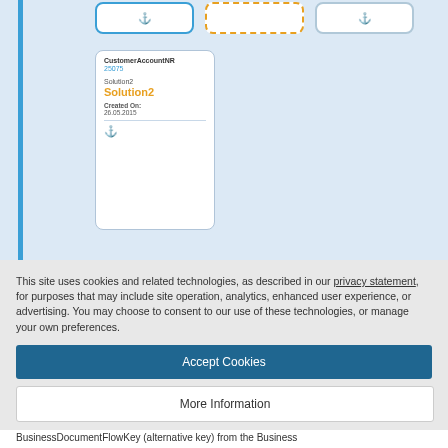[Figure (screenshot): Screenshot of a data card UI showing a CustomerAccountNR field with value 25075, a Solution2 label in orange, Created On date 26.05.2015, and an anchor icon. Blue side bar on left. Three card boxes at top (blue bordered, orange dashed, gray bordered). Background is light blue.]
This site uses cookies and related technologies, as described in our privacy statement, for purposes that may include site operation, analytics, enhanced user experience, or advertising. You may choose to consent to our use of these technologies, or manage your own preferences.
Accept Cookies
More Information
Privacy Policy | Powered by: TrustArc
BusinessDocumentFlowKey (alternative key) from the Business